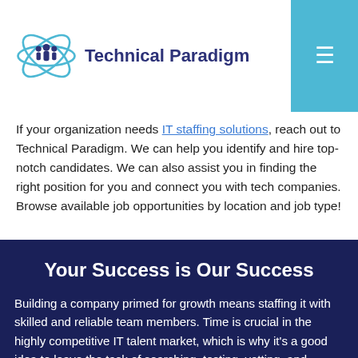Technical Paradigm
If your organization needs IT staffing solutions, reach out to Technical Paradigm. We can help you identify and hire top-notch candidates. We can also assist you in finding the right position for you and connect you with tech companies. Browse available job opportunities by location and job type!
Your Success is Our Success
Building a company primed for growth means staffing it with skilled and reliable team members. Time is crucial in the highly competitive IT talent market, which is why it's a good idea to leave the task of searching, testing, vetting, and interviewing candidates to us. In doing so, you'll get to focus on what genuinely matters — running your business to the...